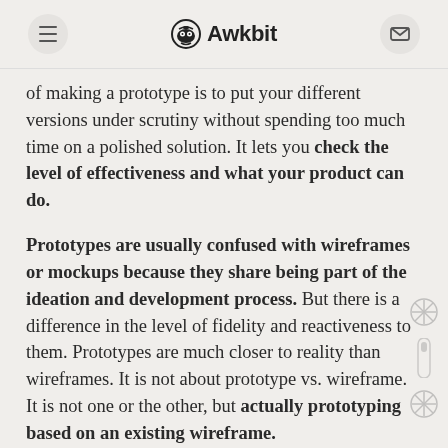Awkbit
of making a prototype is to put your different versions under scrutiny without spending too much time on a polished solution. It lets you check the level of effectiveness and what your product can do.
Prototypes are usually confused with wireframes or mockups because they share being part of the ideation and development process. But there is a difference in the level of fidelity and reactiveness to them. Prototypes are much closer to reality than wireframes. It is not about prototype vs. wireframe. It is not one or the other, but actually prototyping based on an existing wireframe.